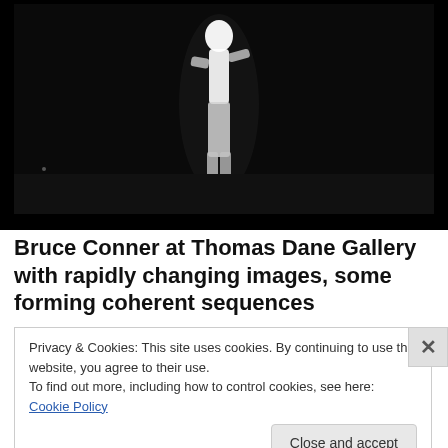[Figure (photo): Dark film still or video frame showing a brightly glowing white human figure silhouette standing against a black background, resembling an overexposed or infrared image. The image is nearly entirely black with the figure at center-right emitting strong white light.]
Bruce Conner at Thomas Dane Gallery with rapidly changing images, some forming coherent sequences
Privacy & Cookies: This site uses cookies. By continuing to use this website, you agree to their use.
To find out more, including how to control cookies, see here: Cookie Policy